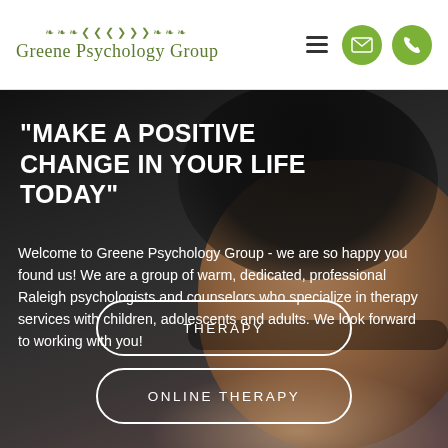Greene Psychology Group
[Figure (screenshot): Website screenshot of Greene Psychology Group homepage featuring a woman wearing glasses as background, with headline, body text, and call-to-action buttons]
"MAKE A POSITIVE CHANGE IN YOUR LIFE TODAY"
Welcome to Greene Psychology Group - we are so happy you found us! We are a group of warm, dedicated, professional Raleigh psychologists and counselors who specialize in therapy services with children, adolescents and adults. We look forward to working with you!
THERAPY
ONLINE THERAPY